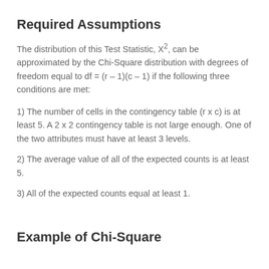Required Assumptions
The distribution of this Test Statistic, X², can be approximated by the Chi-Square distribution with degrees of freedom equal to df = (r – 1)(c – 1) if the following three conditions are met:
1) The number of cells in the contingency table (r x c) is at least 5. A 2 x 2 contingency table is not large enough. One of the two attributes must have at least 3 levels.
2) The average value of all of the expected counts is at least 5.
3) All of the expected counts equal at least 1.
Example of Chi-Square